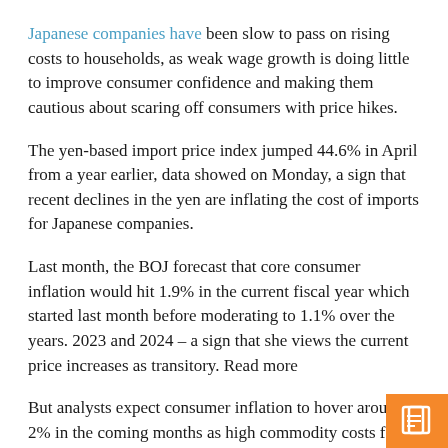Japanese companies have been slow to pass on rising costs to households, as weak wage growth is doing little to improve consumer confidence and making them cautious about scaring off consumers with price hikes.
The yen-based import price index jumped 44.6% in April from a year earlier, data showed on Monday, a sign that recent declines in the yen are inflating the cost of imports for Japanese companies.
Last month, the BOJ forecast that core consumer inflation would hit 1.9% in the current fiscal year which started last month before moderating to 1.1% over the years. 2023 and 2024 – a sign that she views the current price increases as transitory. Read more
But analysts expect consumer inflation to hover around 2% in the coming months as high commodity costs force more companies to raise prices, posing a risk to the economy. Japan's fragile economic recovery.
“It all ultimately depends on whether or not consumers accept price